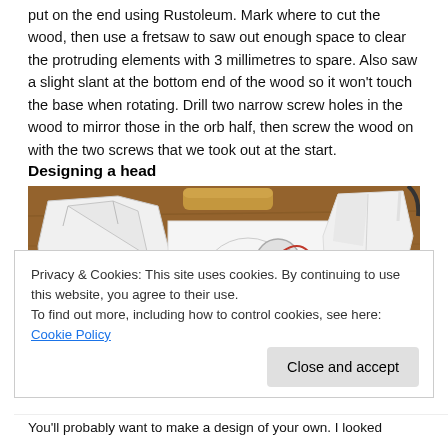put on the end using Rustoleum. Mark where to cut the wood, then use a fretsaw to saw out enough space to clear the protruding elements with 3 millimetres to spare. Also saw a slight slant at the bottom end of the wood so it won't touch the base when rotating. Drill two narrow screw holes in the wood to mirror those in the orb half, then screw the wood on with the two screws that we took out at the start.
Designing a head
[Figure (photo): Photo on a wooden table showing paper craft robot head components: a white paper mask/helmet on the left, a flat paper template in the center, electronic components (orb with wiring) in the middle, and a white paper cone/funnel shape on the right. A wooden dowel and ruler are also visible.]
Privacy & Cookies: This site uses cookies. By continuing to use this website, you agree to their use.
To find out more, including how to control cookies, see here: Cookie Policy
You'll probably want to make a design of your own. I looked